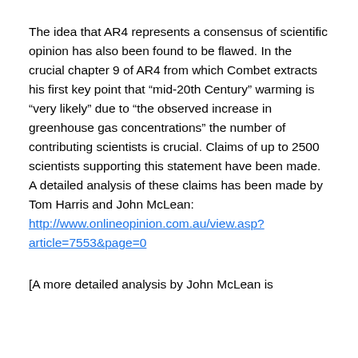The idea that AR4 represents a consensus of scientific opinion has also been found to be flawed. In the crucial chapter 9 of AR4 from which Combet extracts his first key point that “mid-20th Century” warming is “very likely” due to “the observed increase in greenhouse gas concentrations” the number of contributing scientists is crucial. Claims of up to 2500 scientists supporting this statement have been made. A detailed analysis of these claims has been made by Tom Harris and John McLean: http://www.onlineopinion.com.au/view.asp?article=7553&page=0
[A more detailed analysis by John McLean is